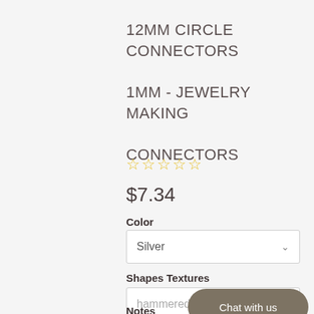12MM CIRCLE CONNECTORS
1MM - JEWELRY MAKING
CONNECTORS
☆☆☆☆☆
$7.34
Color
Silver
Shapes Textures
hammered
Chat with us
Notes